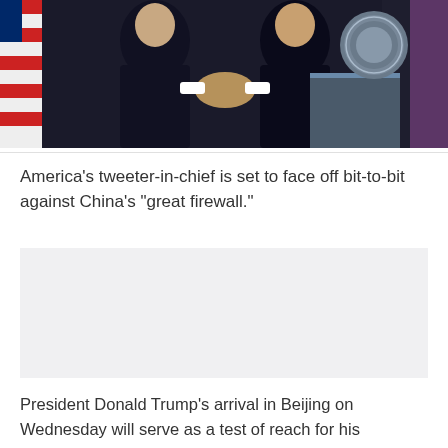[Figure (photo): Two figures in suits shaking hands at what appears to be an official state meeting. An official seal is visible on the right side. Flags are partially visible on the left. A podium is in the background.]
America's tweeter-in-chief is set to face off bit-to-bit against China's "great firewall."
[Figure (other): Advertisement placeholder box]
President Donald Trump's arrival in Beijing on Wednesday will serve as a test of reach for his preferred 140-character communications tool.
The White House is declining to comment on the president's ability to tweet in China or the precautions being taken to protect his communications in the heavily